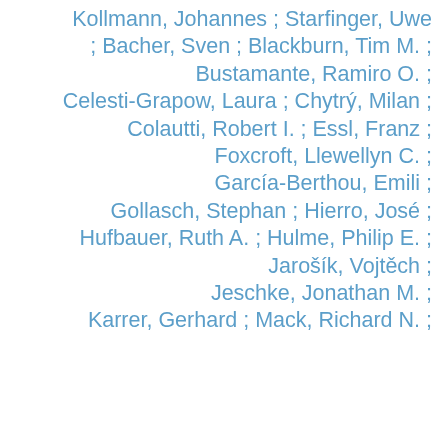Kollmann, Johannes ; Starfinger, Uwe ; Bacher, Sven ; Blackburn, Tim M. ; Bustamante, Ramiro O. ; Celesti-Grapow, Laura ; Chytrý, Milan ; Colautti, Robert I. ; Essl, Franz ; Foxcroft, Llewellyn C. ; García-Berthou, Emili ; Gollasch, Stephan ; Hierro, José ; Hufbauer, Ruth A. ; Hulme, Philip E. ; Jarošík, Vojtěch ; Jeschke, Jonathan M. ; Karrer, Gerhard ; Mack, Richard N. ;